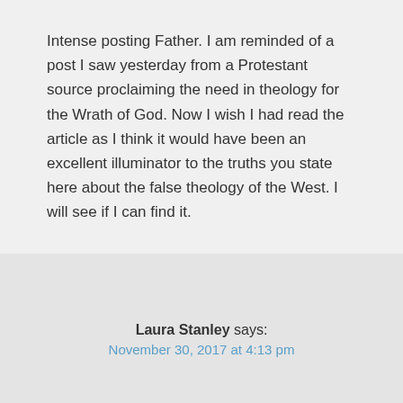Intense posting Father. I am reminded of a post I saw yesterday from a Protestant source proclaiming the need in theology for the Wrath of God. Now I wish I had read the article as I think it would have been an excellent illuminator to the truths you state here about the false theology of the West. I will see if I can find it.
Laura Stanley says: November 30, 2017 at 4:13 pm